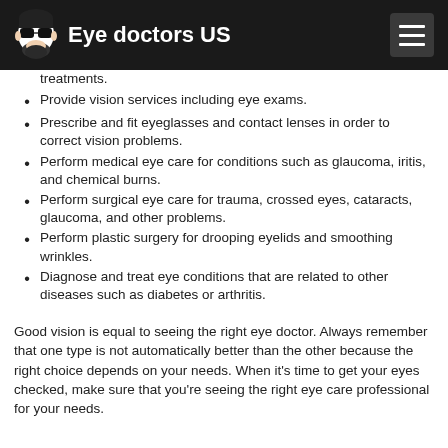Eye doctors US
treatments.
Provide vision services including eye exams.
Prescribe and fit eyeglasses and contact lenses in order to correct vision problems.
Perform medical eye care for conditions such as glaucoma, iritis, and chemical burns.
Perform surgical eye care for trauma, crossed eyes, cataracts, glaucoma, and other problems.
Perform plastic surgery for drooping eyelids and smoothing wrinkles.
Diagnose and treat eye conditions that are related to other diseases such as diabetes or arthritis.
Good vision is equal to seeing the right eye doctor. Always remember that one type is not automatically better than the other because the right choice depends on your needs. When it's time to get your eyes checked, make sure that you're seeing the right eye care professional for your needs.